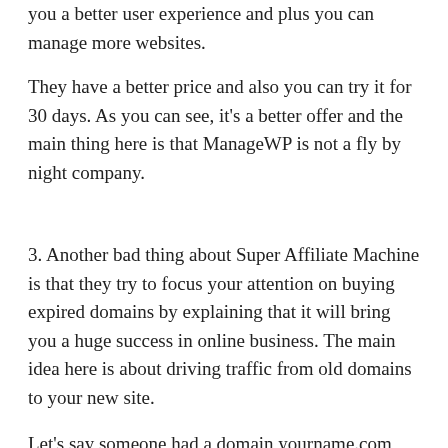you a better user experience and plus you can manage more websites.
They have a better price and also you can try it for 30 days. As you can see, it's a better offer and the main thing here is that ManageWP is not a fly by night company.
3. Another bad thing about Super Affiliate Machine is that they try to focus your attention on buying expired domains by explaining that it will bring you a huge success in online business. The main idea here is about driving traffic from old domains to your new site.
Let's say someone had a domain yourname.com with a good traffic and then sold it. You can now buy it and drive that traffic to your site. That's ok